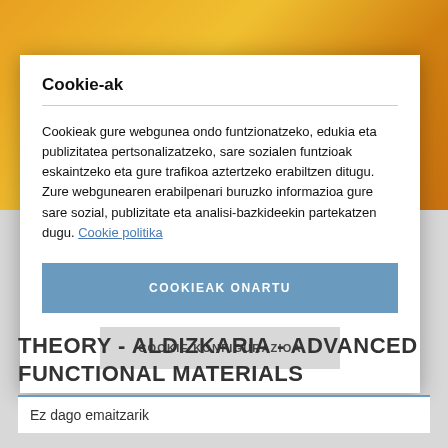Cookie-ak
Cookieak gure webgunea ondo funtzionatzeko, edukia eta publizitatea pertsonalizatzeko, sare sozialen funtzioak eskaintzeko eta gure trafikoa aztertzeko erabiltzen ditugu. Zure webgunearen erabilpenari buruzko informazioa gure sare sozial, publizitate eta analisi-bazkideekin partekatzen dugu. Cookie politika
COOKIEAK ONARTU
COOKIE KONFIGURAZIOA
THEORY - ALDIZKARIA - ADVANCED FUNCTIONAL MATERIALS
Ez dago emaitzarik